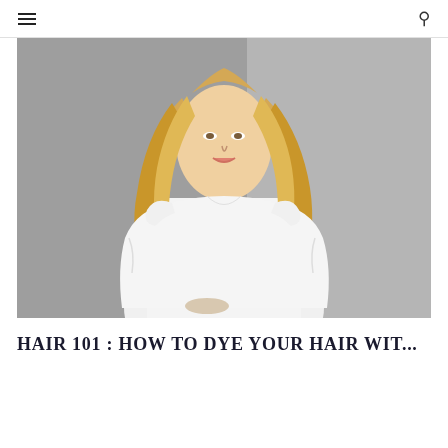☰  🔍
[Figure (photo): A young blonde woman with long wavy hair wearing a white short-sleeve blouse, photographed against a gray background]
HAIR 101 : HOW TO DYE YOUR HAIR WIT...